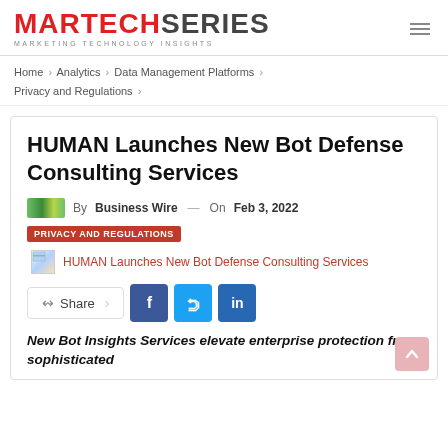MARTECHSERIES MARKETING TECHNOLOGY INSIGHTS
Home > Analytics > Data Management Platforms > Privacy and Regulations >
HUMAN Launches New Bot Defense Consulting Services
By Business Wire — On Feb 3, 2022 PRIVACY AND REGULATIONS
HUMAN Launches New Bot Defense Consulting Services
Share
New Bot Insights Services elevate enterprise protection from sophisticated